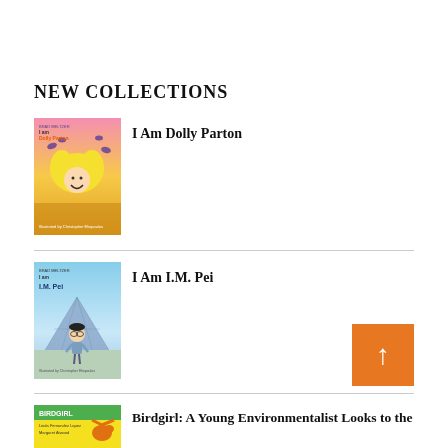NEW COLLECTIONS
[Figure (illustration): Book cover for 'I Am Dolly Parton' showing a cartoon Dolly Parton with blonde hair against a pink/gold background with butterflies]
I Am Dolly Parton
[Figure (illustration): Book cover for 'I Am I.M. Pei' showing a cartoon of I.M. Pei with glasses in front of the Louvre pyramid]
I Am I.M. Pei
[Figure (illustration): Book cover for 'Birdgirl: A Young Environmentalist Looks to the...' with yellow and green cover showing a bird girl character]
Birdgirl: A Young Environmentalist Looks to the